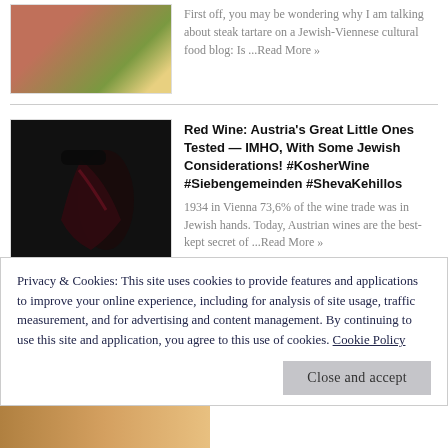[Figure (photo): Photo of a steak tartare dish plated elegantly]
First off, you may be wondering why I am talking about steak tartare on a Jewish-Viennese cultural food blog: Is ...Read More »
[Figure (photo): Photo of red wine being poured into a wine glass against a dark background]
Red Wine: Austria's Great Little Ones Tested — IMHO, With Some Jewish Considerations! #KosherWine #Siebengemeinden #ShevaKehillos
1934 in Vienna 73,6% of the wine trade was in Jewish hands. Today, Austrian wines are the best-kept secret of ...Read More »
Privacy & Cookies: This site uses cookies to provide features and applications to improve your online experience, including for analysis of site usage, traffic measurement, and for advertising and content management. By continuing to use this site and application, you agree to this use of cookies. Cookie Policy
[Figure (photo): Partial photo of food at the bottom of the page]